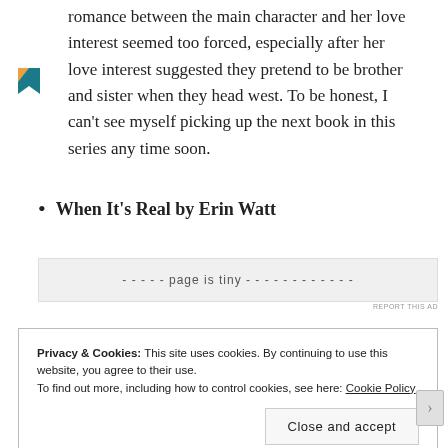romance between the main character and her love interest seemed too forced, especially after her love interest suggested they pretend to be brother and sister when they head west. To be honest, I can't see myself picking up the next book in this series any time soon.
When It's Real by Erin Watt
[Figure (other): Ad placeholder box with dashed text indicating ad content]
REPORT THIS AD
Privacy & Cookies: This site uses cookies. By continuing to use this website, you agree to their use.
To find out more, including how to control cookies, see here: Cookie Policy
Close and accept